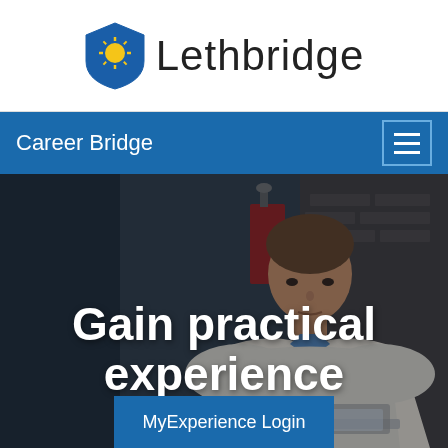[Figure (logo): University of Lethbridge shield crest logo with sun symbol and blue background, alongside the text 'Lethbridge' in large serif font]
Career Bridge
[Figure (photo): Hero image of a young man working on a laptop in a dark, brick-walled environment. Overlaid bold white text reads 'Gain practical experience'. A blue 'MyExperience Login' button appears at the bottom.]